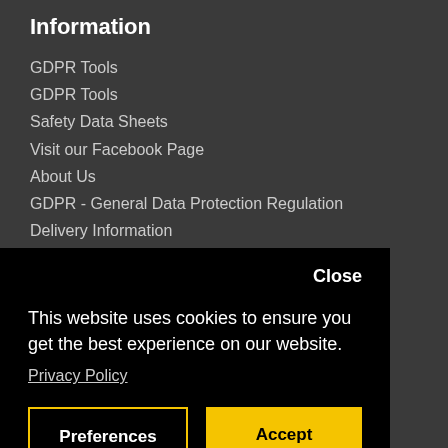Information
GDPR Tools
GDPR Tools
Safety Data Sheets
Visit our Facebook Page
About Us
GDPR - General Data Protection Regulation
Delivery Information
How to Find Us
Privacy Policy - CCW
Terms & Conditions
Close
This website uses cookies to ensure you get the best experience on our website.
Privacy Policy
Preferences
Accept